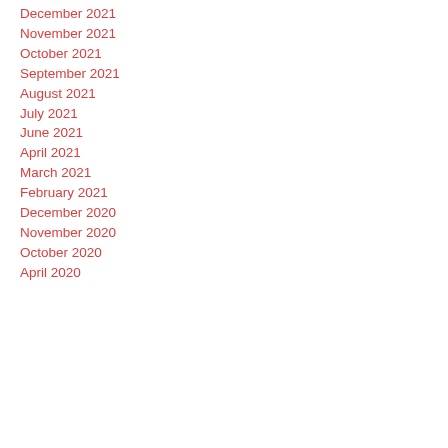December 2021
November 2021
October 2021
September 2021
August 2021
July 2021
June 2021
April 2021
March 2021
February 2021
December 2020
November 2020
October 2020
April 2020